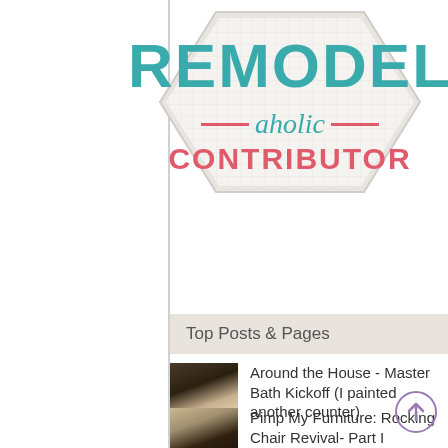[Figure (logo): Remodelaholic Contributor badge logo. Hexagon/badge shape with 'REMODEL' in large teal uppercase letters, 'aholic' in teal italic script with red horizontal lines on each side, and 'CONTRIBUTOR' in large red/pink uppercase letters below.]
Top Posts & Pages
Around the House - Master Bath Kickoff (I painted another counter)
Pimp My Furniture: Rocking Chair Revival- Part I